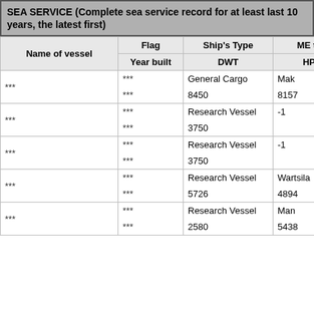SEA SERVICE (Complete sea service record for at least last 10 years, the latest first)
| Name of vessel | Flag | Ship's Type | ME ty… | Year built | DWT | HP |
| --- | --- | --- | --- | --- | --- | --- |
| *** | *** | General Cargo | Mak | *** | 8450 | 8157 |
| *** | *** | Research Vessel | -1 | *** | 3750 |  |
| *** | *** | Research Vessel | -1 | *** | 3750 |  |
| *** | *** | Research Vessel | Wartsila | *** | 5726 | 4894 |
| *** | *** | Research Vessel | Man | *** | 2580 | 5438 |